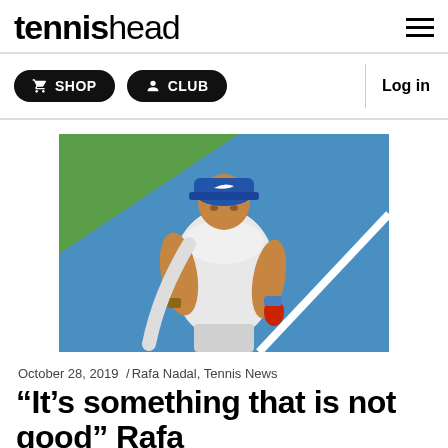tennishead
SHOP   CLUB   Log in
[Figure (photo): Rafael Nadal walking on a tennis court, wearing a blue cap and white sleeveless shirt with a towel around his neck, holding a red water bottle]
October 28, 2019   /Rafa Nadal, Tennis News
“It’s something that is not good” Rafa